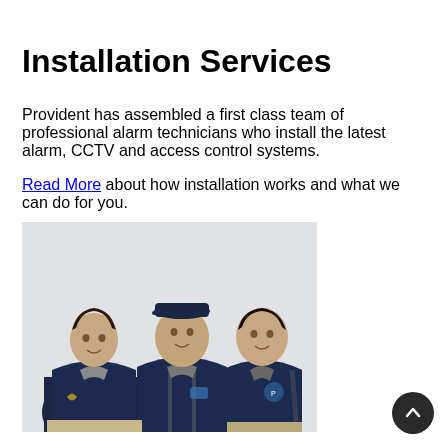Installation Services
Provident has assembled a first class team of professional alarm technicians who install the latest alarm, CCTV and access control systems.
Read More about how installation works and what we can do for you.
[Figure (photo): Three male alarm technicians in navy blue branded jackets, standing together against a light background. The man in the center wears a navy cap.]